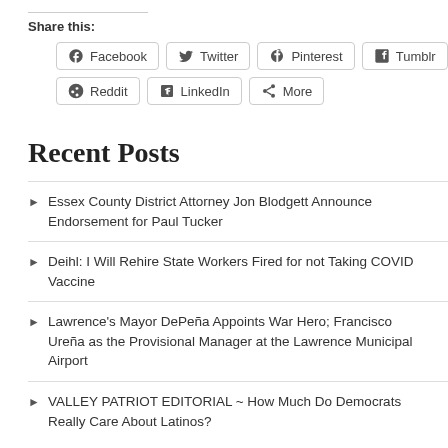Share this:
Facebook  Twitter  Pinterest  Tumblr  Reddit  LinkedIn  More
Recent Posts
Essex County District Attorney Jon Blodgett Announce Endorsement for Paul Tucker
Deihl: I Will Rehire State Workers Fired for not Taking COVID Vaccine
Lawrence's Mayor DePeña Appoints War Hero; Francisco Ureña as the Provisional Manager at the Lawrence Municipal Airport
VALLEY PATRIOT EDITORIAL ~ How Much Do Democrats Really Care About Latinos?